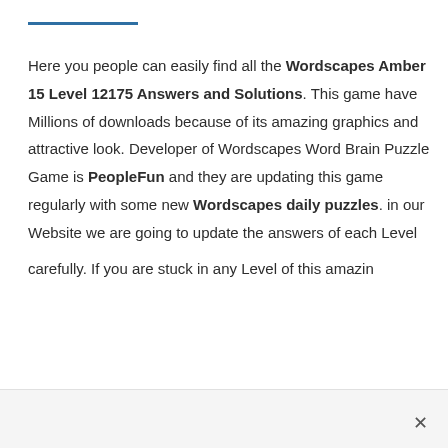Here you people can easily find all the Wordscapes Amber 15 Level 12175 Answers and Solutions. This game have Millions of downloads because of its amazing graphics and attractive look. Developer of Wordscapes Word Brain Puzzle Game is PeopleFun and they are updating this game regularly with some new Wordscapes daily puzzles. in our Website we are going to update the answers of each Level carefully. If you are stuck in any Level of this amazing